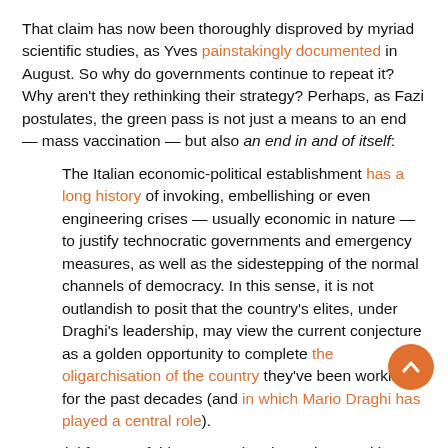That claim has now been thoroughly disproved by myriad scientific studies, as Yves painstakingly documented in August. So why do governments continue to repeat it? Why aren't they rethinking their strategy? Perhaps, as Fazi postulates, the green pass is not just a means to an end — mass vaccination — but also an end in and of itself:
The Italian economic-political establishment has a long history of invoking, embellishing or even engineering crises — usually economic in nature — to justify technocratic governments and emergency measures, as well as the sidestepping of the normal channels of democracy. In this sense, it is not outlandish to posit that the country's elites, under Draghi's leadership, may view the current conjecture as a golden opportunity to complete the oligarchisation of the country they've been working at for the past decades (and in which Mario Draghi has played a central role).
A crucial feature of this process has been the transition from a post-war regime based on the centrality of parliament to one dominated by executive, technocratic and supranational powers, in which the legislature performs a marginal role, thus insulating policymaking from democratic pressures. As such, the absence of...